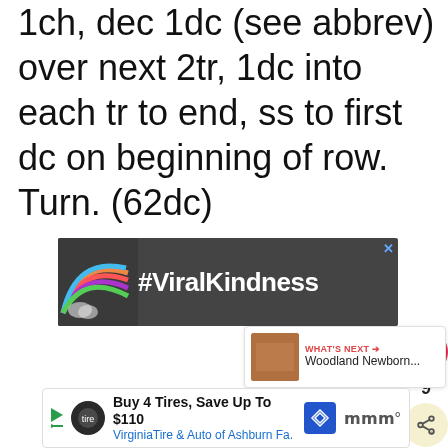1ch, dec 1dc (see abbrev) over next 2tr, 1dc into each tr to end, ss to first dc on beginning of row. Turn. (62dc)
[Figure (screenshot): Advertisement banner with dark background showing a chalk-drawn rainbow and the text #ViralKindness in white bold font, with an X close button in the top right]
[Figure (infographic): Social sidebar with a red heart/like button showing count 9, and a yellow share button]
[Figure (screenshot): What's Next panel showing a thumbnail and text 'Woodland Newborn...']
[Figure (screenshot): Bottom advertisement: Buy 4 Tires, Save Up To $110, Virginia Tire & Auto of Ashburn Fa.]